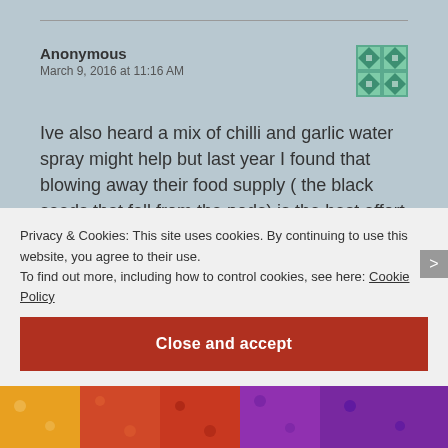Anonymous
March 9, 2016 at 11:16 AM
Ive also heard a mix of chilli and garlic water spray might help but last year I found that blowing away their food supply ( the black seeds that fall from the pods) is the best effort at keeping them at bay… for a while anyway.. My daughter who is 4 now considers them her " bug friends" so we at least refrain from " joyfully squishing" them under our feet now!!!
Privacy & Cookies: This site uses cookies. By continuing to use this website, you agree to their use.
To find out more, including how to control cookies, see here: Cookie Policy
Close and accept